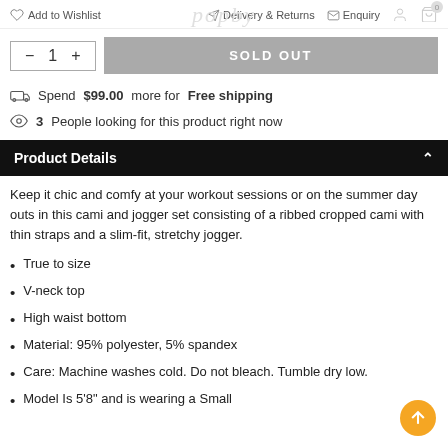Add to Wishlist  Delivery & Returns  Enquiry
- 1 +   SOLD OUT
Spend $99.00 more for Free shipping
3 People looking for this product right now
Product Details
Keep it chic and comfy at your workout sessions or on the summer day outs in this cami and jogger set consisting of a ribbed cropped cami with thin straps and a slim-fit, stretchy jogger.
True to size
V-neck top
High waist bottom
Material: 95% polyester, 5% spandex
Care: Machine washes cold. Do not bleach. Tumble dry low.
Model Is 5'8" and is wearing a Small